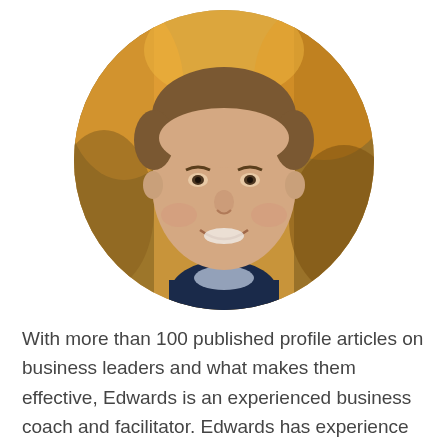[Figure (photo): Circular cropped headshot of a smiling middle-aged man with short brown hair, wearing a dark jacket, against an autumn foliage background.]
With more than 100 published profile articles on business leaders and what makes them effective, Edwards is an experienced business coach and facilitator. Edwards has experience in leadership development, strategic planning, productivity improvement, sales prospecting effectiveness, and personal goal setting. For the past 25 years he has